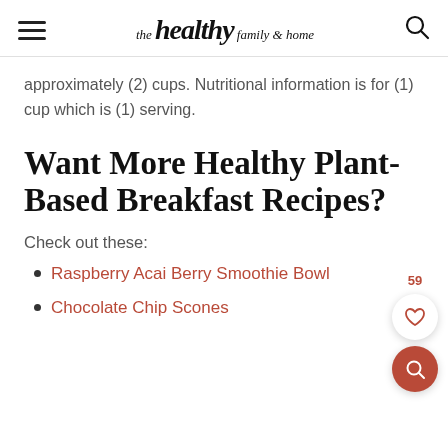the healthy family & home
approximately (2) cups. Nutritional information is for (1) cup which is (1) serving.
Want More Healthy Plant-Based Breakfast Recipes?
Check out these:
Raspberry Acai Berry Smoothie Bowl
Chocolate Chip Scones